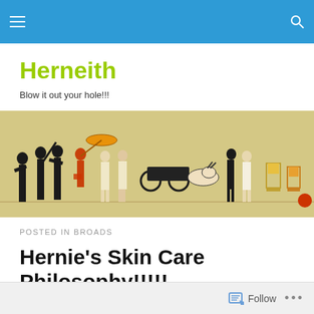Navigation bar with hamburger menu and search icon
Herneith
Blow it out your hole!!!
[Figure (illustration): Ancient Egyptian-style painting showing a procession of figures carrying items, playing instruments, with animals and furniture visible]
POSTED IN BROADS
Hernie's Skin Care Philosophy!!!!!
Follow ...